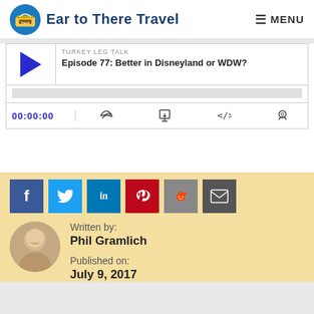Ear to There Travel | MENU
TURKEY LEG TALK
Episode 77: Better in Disneyland or WDW?
00:00:00
Written by: Phil Gramlich
Published on: July 9, 2017